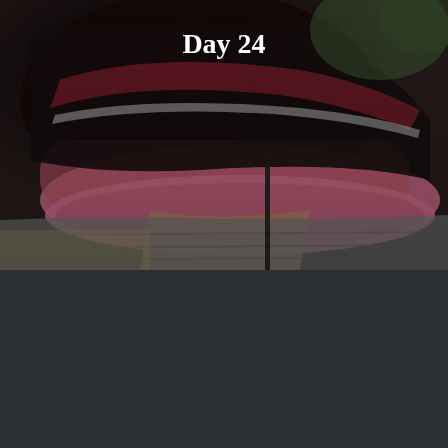[Figure (photo): Close-up photo of a pink and black running sneaker/trainer worn by a person, positioned on what appears to be a wooden bench or surface. The shoe has a pink sole and dark upper with red/pink accents. Background shows an outdoor blurred setting. Text 'Day 24' is overlaid in white bold serif font at the top center.]
Day 24
We are shaped by our thoughts; we become what we think.
Buddha
It was cold.